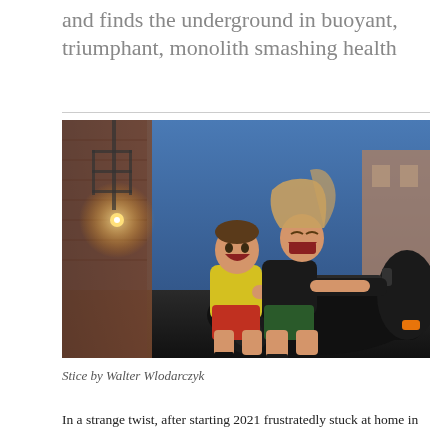and finds the underground in buoyant, triumphant, monolith smashing health
[Figure (photo): Two young people laughing joyfully while riding together on a black scooter/motorcycle in an urban alley at night. The man on the back wears a yellow t-shirt and red shorts; the woman in front wears a black tank top and green shorts. City buildings with fire escapes are visible in the background under a blue evening sky.]
Stice by Walter Wlodarczyk
In a strange twist, after starting 2021 frustratedly stuck at home in